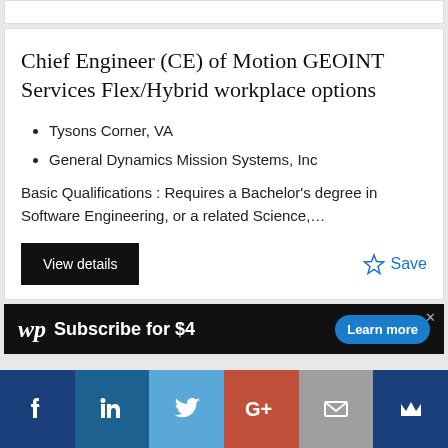Chief Engineer (CE) of Motion GEOINT Services Flex/Hybrid workplace options
Tysons Corner, VA
General Dynamics Mission Systems, Inc
Basic Qualifications : Requires a Bachelor's degree in Software Engineering, or a related Science,...
View details
Save
[Figure (infographic): Washington Post advertisement banner: wp logo, 'Subscribe for $4', 'Learn more' button]
[Figure (infographic): Social media share bar with Facebook, LinkedIn, Twitter, Google+, Email, and Crown icons]